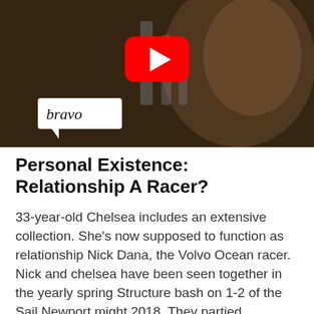[Figure (screenshot): YouTube video thumbnail showing a woman with wavy blonde hair in a dark setting, with a YouTube play button overlay in the center and a Bravo network logo in the lower left corner.]
Personal Existence: Relationship A Racer?
33-year-old Chelsea includes an extensive collection. She’s now supposed to function as relationship Nick Dana, the Volvo Ocean racer. Nick and chelsea have been seen together in the yearly spring Structure bash on 1-2 of the Sail Newport might 2018. They partied Rhodeisland, at Fort Adams State Park in the Volvo Ocean Race Village. The rumors in